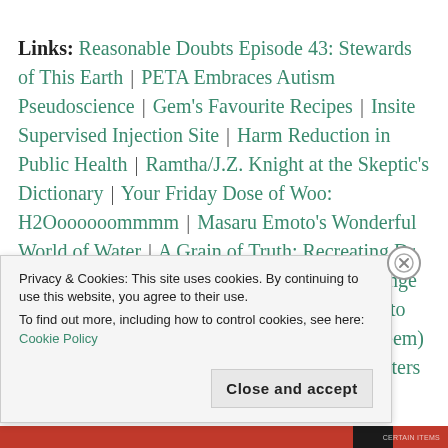Links: Reasonable Doubts Episode 43: Stewards of This Earth | PETA Embraces Autism Pseudoscience | Gem's Favourite Recipes | Insite Supervised Injection Site | Harm Reduction in Public Health | Ramtha/J.Z. Knight at the Skeptic's Dictionary | Your Friday Dose of Woo: H2Ooooooommmm | Masaru Emoto's Wonderful World of Water | A Grain of Truth: Recreating Dr. Emoto's Rice Experiment | Can Thinking Change Reality? | Geocentrism – Seriously? | Donate to Habitat for Humanity's Muddy Waters Ride (Gem) | Donate to Habitat for Humanity's Muddy Waters Ride (Laura)
Privacy & Cookies: This site uses cookies. By continuing to use this website, you agree to their use. To find out more, including how to control cookies, see here: Cookie Policy
Close and accept